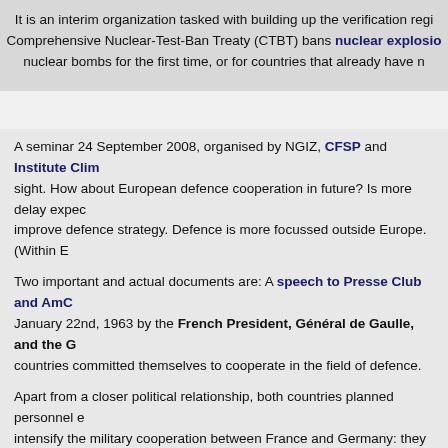It is an interim organization tasked with building up the verification regime. Comprehensive Nuclear-Test-Ban Treaty (CTBT) bans nuclear explosions nuclear bombs for the first time, or for countries that already have n...
A seminar 24 September 2008, organised by NGIZ, CFSP and Institute Clim... sight. How about European defence cooperation in future? Is more delay expec... improve defence strategy. Defence is more focussed outside Europe. (Within E...
Two important and actual documents are: A speech to Presse Club and AmC... January 22nd, 1963 by the French President, Général de Gaulle, and the G... countries committed themselves to cooperate in the field of defence.
Apart from a closer political relationship, both countries planned personnel e... intensify the military cooperation between France and Germany: they announ... 14th, 1991, both heads of state and government informed the chairman of the... the other WEU members could participate. On the occasion of the La Rochell... common report of the French and German Defence Ministers. A few weeks late...
The Petersberg Declaration dated June 19th, 1992 and defines the WEU's rol... Eurocorps at the WEU's disposal. On January 21st, 1993, the SACEUR Agreem...
· the Eurocorps' missions in a NATO framework,
· the competences for planning commitments,
· the Eurocorps' assignment under a NATO command-in-chief, the responsib...